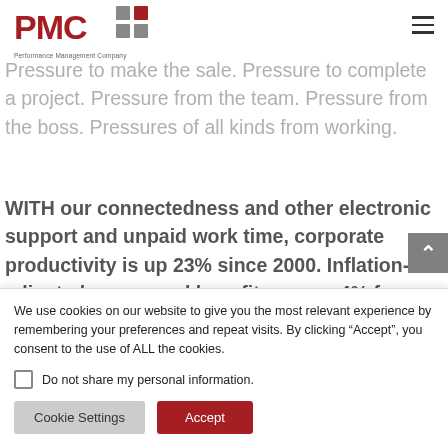PMC — Performance Management Company
Pressure to make the sale. Pressure to complete a project. Pressure from the team. Pressure from the boss. Pressures of all kinds from working.
WITH our connectedness and other electronic support and unpaid work time, corporate productivity is up 23% since 2000. Inflation-adjusted wages and benefits are up 4% for those…
We use cookies on our website to give you the most relevant experience by remembering your preferences and repeat visits. By clicking “Accept”, you consent to the use of ALL the cookies.
Do not share my personal information.
Cookie Settings
Accept